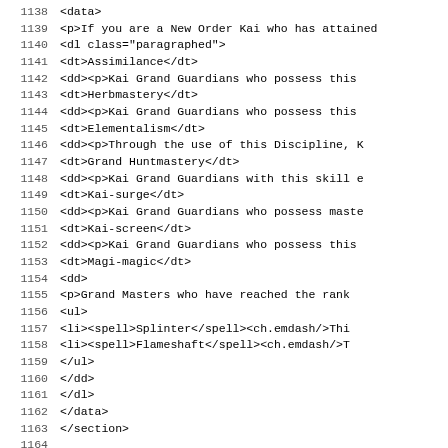Source code listing lines 1138-1170 showing XML/HTML markup for a Lone Wolf game data file